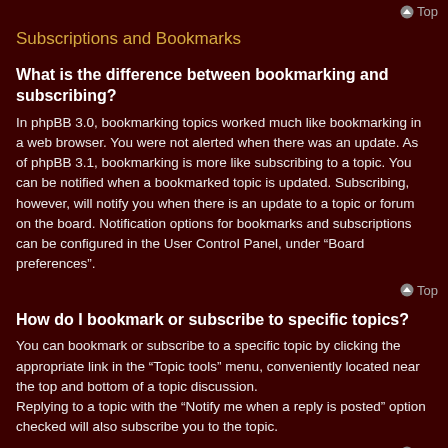Top
Subscriptions and Bookmarks
What is the difference between bookmarking and subscribing?
In phpBB 3.0, bookmarking topics worked much like bookmarking in a web browser. You were not alerted when there was an update. As of phpBB 3.1, bookmarking is more like subscribing to a topic. You can be notified when a bookmarked topic is updated. Subscribing, however, will notify you when there is an update to a topic or forum on the board. Notification options for bookmarks and subscriptions can be configured in the User Control Panel, under “Board preferences”.
Top
How do I bookmark or subscribe to specific topics?
You can bookmark or subscribe to a specific topic by clicking the appropriate link in the “Topic tools” menu, conveniently located near the top and bottom of a topic discussion.
Replying to a topic with the “Notify me when a reply is posted” option checked will also subscribe you to the topic.
Top
How do I subscribe to specific forums?